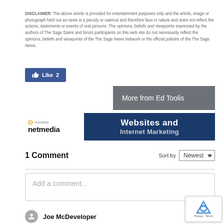DISCLAIMER: The above article is provided for entertainment purposes only and the article, image or photograph held out as news is a parody or satirical and therefore faux in nature and does not reflect the actions, statements or events of real persons. The opinions, beliefs and viewpoints expressed by the authors of The Sage Satire and forum participants on this web site do not necessarily reflect the opinions, beliefs and viewpoints of the The Sage News Network or the official policies of the The Sage News.
[Figure (other): Facebook Like button showing thumbs up icon with 'Like 2' text on blue background]
[Figure (other): Dark grey banner reading 'More from Ed Toolis']
[Figure (other): Industrial Netmedia advertisement banner with globe logo on left and 'Websites and Internet Marketing' text on dark blue background]
1 Comment
Sort by Newest
[Figure (other): Comment input box with placeholder text 'Add a comment...']
Joe McDeveloper
[Figure (other): Google reCAPTCHA badge with logo and Privacy/Terms text]